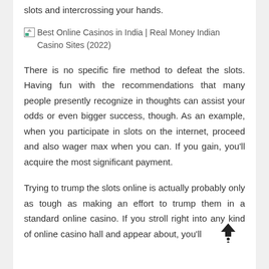slots and intercrossing your hands.
[Figure (other): Broken image placeholder with alt text: Best Online Casinos in India | Real Money Indian Casino Sites (2022)]
There is no specific fire method to defeat the slots. Having fun with the recommendations that many people presently recognize in thoughts can assist your odds or even bigger success, though. As an example, when you participate in slots on the internet, proceed and also wager max when you can. If you gain, you'll acquire the most significant payment.
Trying to trump the slots online is actually probably only as tough as making an effort to trump them in a standard online casino. If you stroll right into any kind of online casino hall and appear about, you'll